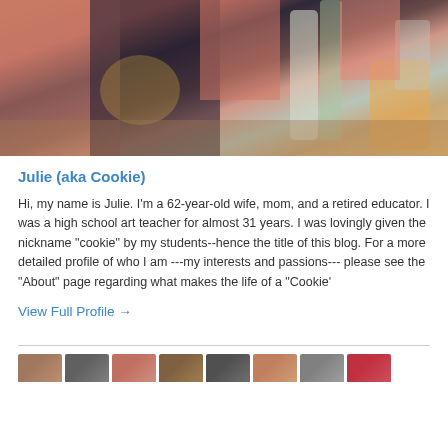[Figure (photo): Photo of hands near bottles and glassware on a table, person wearing pink clothing and patterned fabric visible]
Julie (aka Cookie)
Hi, my name is Julie. I'm a 62-year-old wife, mom, and a retired educator. I was a high school art teacher for almost 31 years. I was lovingly given the nickname "cookie" by my students--hence the title of this blog. For a more detailed profile of who I am ---my interests and passions--- please see the "About" page regarding what makes the life of a "Cookie'
View Full Profile →
[Figure (photo): Strip of thumbnail photos at the bottom of the page]